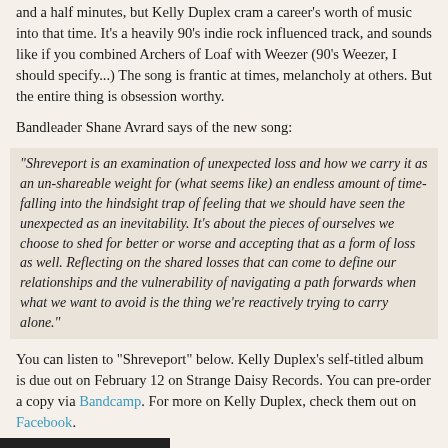and a half minutes, but Kelly Duplex cram a career's worth of music into that time. It's a heavily 90's indie rock influenced track, and sounds like if you combined Archers of Loaf with Weezer (90's Weezer, I should specify...) The song is frantic at times, melancholy at others. But the entire thing is obsession worthy.
Bandleader Shane Avrard says of the new song:
"Shreveport is an examination of unexpected loss and how we carry it as an un-shareable weight for (what seems like) an endless amount of time- falling into the hindsight trap of feeling that we should have seen the unexpected as an inevitability. It's about the pieces of ourselves we choose to shed for better or worse and accepting that as a form of loss as well. Reflecting on the shared losses that can come to define our relationships and the vulnerability of navigating a path forwards when what we want to avoid is the thing we're reactively trying to carry alone."
You can listen to "Shreveport" below. Kelly Duplex's self-titled album is due out on February 12 on Strange Daisy Records. You can pre-order a copy via Bandcamp. For more on Kelly Duplex, check them out on Facebook.